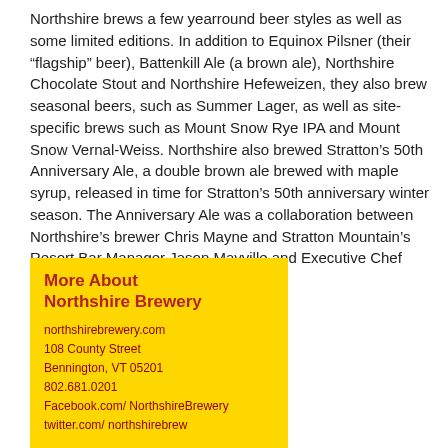Northshire brews a few yearround beer styles as well as some limited editions. In addition to Equinox Pilsner (their “flagship” beer), Battenkill Ale (a brown ale), Northshire Chocolate Stout and Northshire Hefeweizen, they also brew seasonal beers, such as Summer Lager, as well as site-specific brews such as Mount Snow Rye IPA and Mount Snow Vernal-Weiss. Northshire also brewed Stratton’s 50th Anniversary Ale, a double brown ale brewed with maple syrup, released in time for Stratton’s 50th anniversary winter season. The Anniversary Ale was a collaboration between Northshire’s brewer Chris Mayne and Stratton Mountain’s Resort Bar Manager Jason Mayville and Executive Chef Kristen Matuscik.
More About Northshire Brewery
northshirebrewery.com
108 County Street
Bennington, VT 05201
802.681.0201
Facebook.com/NorthshireBrewery
twitter.com/northshirebrew
About craft brewing in Vermont and in the US, visit:
vermontbrewers.com
brewersassociation.org
BYO.com (Brew Your Own magazine)